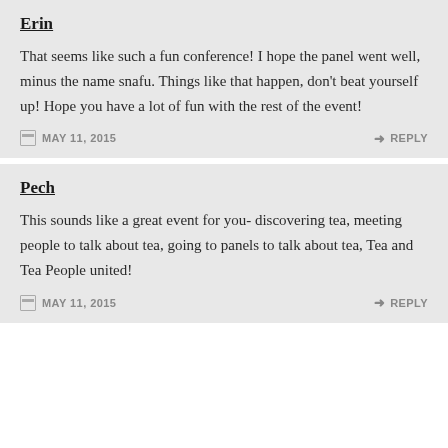Erin
That seems like such a fun conference! I hope the panel went well, minus the name snafu. Things like that happen, don’t beat yourself up! Hope you have a lot of fun with the rest of the event!
MAY 11, 2015   REPLY
Pech
This sounds like a great event for you- discovering tea, meeting people to talk about tea, going to panels to talk about tea, Tea and Tea People united!
MAY 11, 2015   REPLY